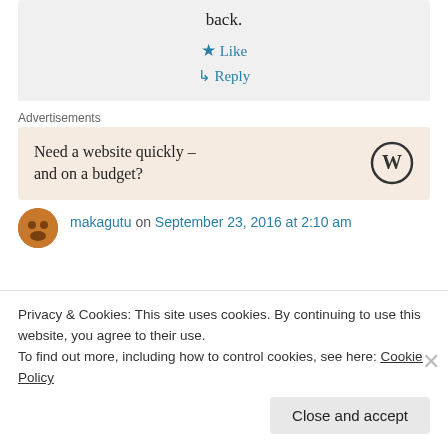back.
★ Like
↳ Reply
Advertisements
Need a website quickly – and on a budget?
makagutu on September 23, 2016 at 2:10 am
Privacy & Cookies: This site uses cookies. By continuing to use this website, you agree to their use.
To find out more, including how to control cookies, see here: Cookie Policy
Close and accept